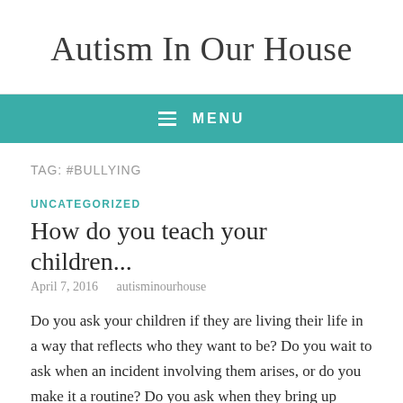Autism In Our House
MENU
TAG: #BULLYING
UNCATEGORIZED
How do you teach your children...
April 7, 2016   autisminourhouse
Do you ask your children if they are living their life in a way that reflects who they want to be? Do you wait to ask when an incident involving them arises, or do you make it a routine? Do you ask when they bring up things that